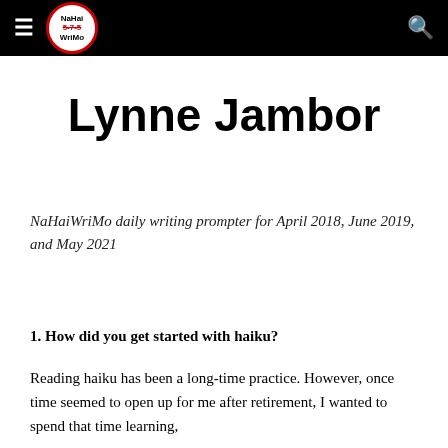NaHaiWriMo [logo] [hamburger menu] [search]
Lynne Jambor
NaHaiWriMo daily writing prompter for April 2018, June 2019, and May 2021
1. How did you get started with haiku?
Reading haiku has been a long-time practice. However, once time seemed to open up for me after retirement, I wanted to spend that time learning,